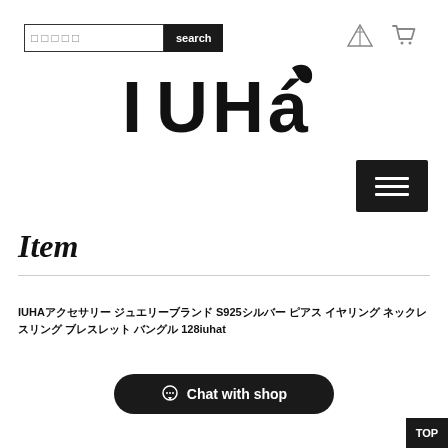search bar and navigation icons
[Figure (logo): IUHá brand logo in bold black stylized lettering with accent mark]
[Figure (other): Hamburger menu button (three horizontal lines) on black background]
Item
IUHAアクセサリー ジュエリーブランド S925シルバー ピアス イヤリング ネックレスリング ブレスレット バングル 128iuhat
[Figure (other): Chat with shop button - black rounded pill button with chat icon]